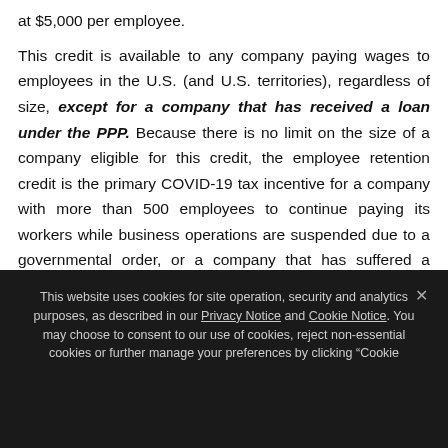at $5,000 per employee. This credit is available to any company paying wages to employees in the U.S. (and U.S. territories), regardless of size, except for a company that has received a loan under the PPP. Because there is no limit on the size of a company eligible for this credit, the employee retention credit is the primary COVID-19 tax incentive for a company with more than 500 employees to continue paying its workers while business operations are suspended due to a governmental order, or a company that has suffered a significant decline in gross receipts (because a
This website uses cookies for site operation, security and analytics purposes, as described in our Privacy Notice and Cookie Notice. You may choose to consent to our use of cookies, reject non-essential cookies or further manage your preferences by clicking "Cookie